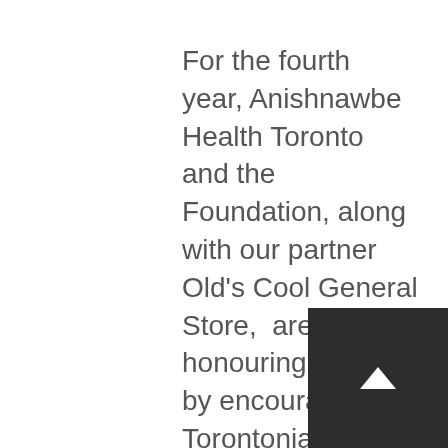For the fourth year, Anishnawbe Health Toronto and the Foundation, along with our partner Old's Cool General Store,  are honouring this day by encouraging Torontonians to wear orange t-shirts.  Chi-miigwetch to everyone who has ordered a shirt this year from Old's Cool General Store.  Five dollars from every shirt sold is donated to AHF.
This year, we encourage everyone to use this day as a day of reflection and education, and as a day to advance reconciliation in Canada.  On Thursday, Anishnawbe Health will be